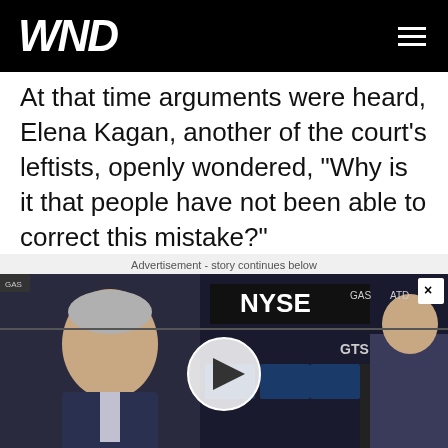WND
At that time arguments were heard, Elena Kagan, another of the court's leftists, openly wondered, "Why is it that people have not been able to correct this mistake?"
Advertisement - story continues below
[Figure (screenshot): Video player showing NYSE trading floor with a man in profile on the left side and a circular play button overlay in the center]
Advertisement
[Figure (photo): Photo of red meat dishes with colorful toppings]
Stop Eating Red Meat (Before It's Too Late)
Herbeauty